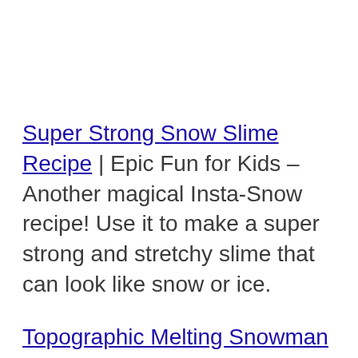Super Strong Snow Slime Recipe | Epic Fun for Kids – Another magical Insta-Snow recipe! Use it to make a super strong and stretchy slime that can look like snow or ice.
Topographic Melting Snowman Craft | Stay At Home Educator – What a cute craft!! It's also a fun way for preschoolers to practice sequencing and scissor skills.